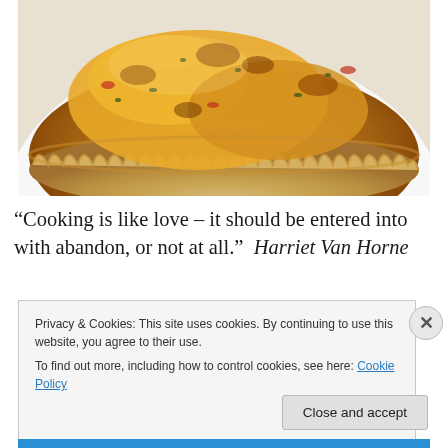[Figure (photo): Close-up photo of a baked quiche in a pie crust, with golden-brown cheesy top with herbs and tomato pieces visible, on a white plate background.]
“Cooking is like love – it should be entered into with abandon, or not at all.”  Harriet Van Horne
Privacy & Cookies: This site uses cookies. By continuing to use this website, you agree to their use.
To find out more, including how to control cookies, see here: Cookie Policy
Close and accept